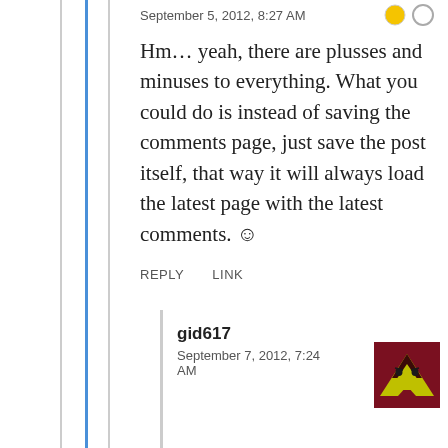September 5, 2012, 8:27 AM
Hm… yeah, there are plusses and minuses to everything. What you could do is instead of saving the comments page, just save the post itself, that way it will always load the latest page with the latest comments. 🙂
REPLY   LINK
gid617
September 7, 2012, 7:24 AM